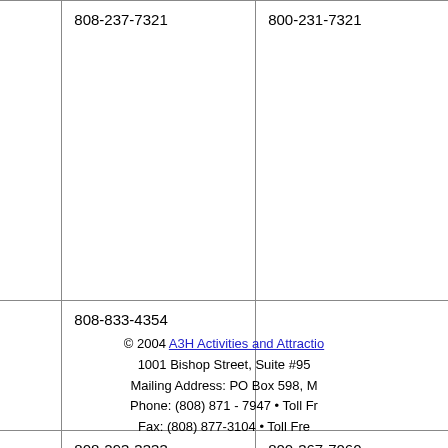| Name | Phone | Toll Free |
| --- | --- | --- |
| Kualoa Ranch Hawaii | 808-237-7321 | 800-231-7321 |
| Magnum Helicopters | 808-833-4354 |  |
| Polynesian Cultural Center | 808-293-3333 | 800-367-7060 |
© 2004 A3H Activities and Attractions • 1001 Bishop Street, Suite #95 • Mailing Address: PO Box 598, M • Phone: (808) 871 - 7947 • Toll Free • Fax: (808) 877-3104 • Toll Free